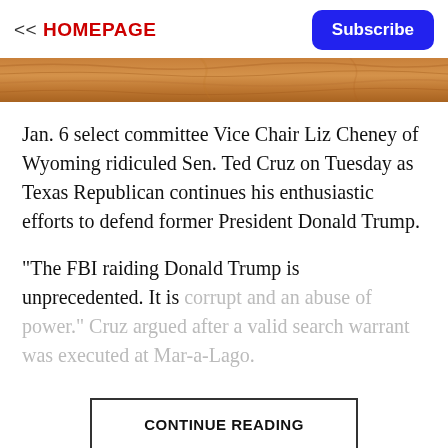<< HOMEPAGE
Subscribe
[Figure (photo): Wooden surface/table top image used as a decorative banner]
Jan. 6 select committee Vice Chair Liz Cheney of Wyoming ridiculed Sen. Ted Cruz on Tuesday as Texas Republican continues his enthusiastic efforts to defend former President Donald Trump.
"The FBI raiding Donald Trump is unprecedented. It is corrupt and an abuse of power." Cruz argued after a valid search warrant was executed at Mar-a-Lago.
CONTINUE READING